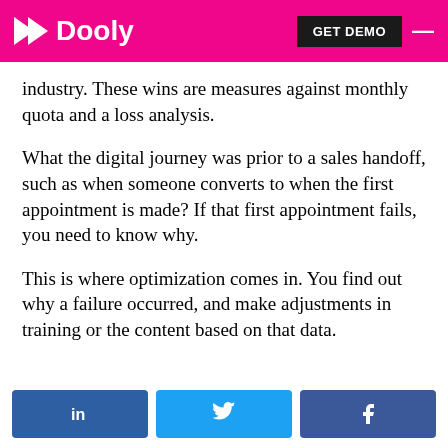Dooly — GET DEMO
industry. These wins are measures against monthly quota and a loss analysis.
What the digital journey was prior to a sales handoff, such as when someone converts to when the first appointment is made? If that first appointment fails, you need to know why.
This is where optimization comes in. You find out why a failure occurred, and make adjustments in training or the content based on that data.
LinkedIn | Twitter | Facebook share buttons